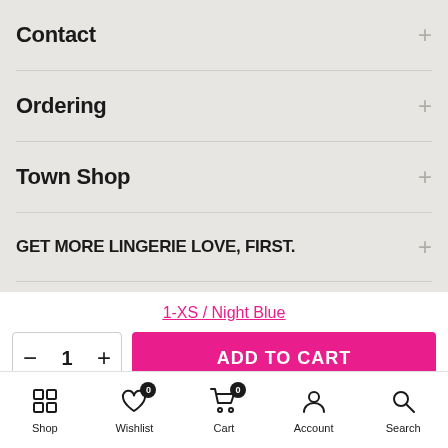Contact
Ordering
Town Shop
GET MORE LINGERIE LOVE, FIRST.
[Figure (screenshot): Four thumbnail image boxes in a row]
1-XS / Night Blue
- 1 +
ADD TO CART
Shop  Wishlist 0  Cart 0  Account  Search